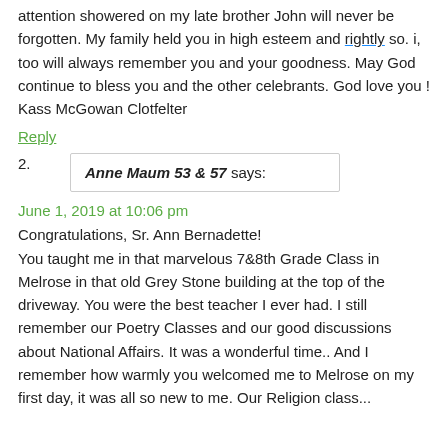attention showered on my late brother John will never be forgotten. My family held you in high esteem and rightly so. i, too will always remember you and your goodness. May God continue to bless you and the other celebrants. God love you !
Kass McGowan Clotfelter
Reply
Anne Maum 53 & 57 says:
June 1, 2019 at 10:06 pm
Congratulations, Sr. Ann Bernadette!
You taught me in that marvelous 7&8th Grade Class in Melrose in that old Grey Stone building at the top of the driveway. You were the best teacher I ever had. I still remember our Poetry Classes and our good discussions about National Affairs. It was a wonderful time.. And I remember how warmly you welcomed me to Melrose on my first day, it was all so new to me. Our Religion class...